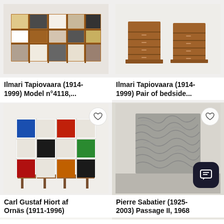[Figure (photo): Wide wooden bookshelf with colorful small drawers and open compartments, Ilmari Tapiovaara Model n°4118]
[Figure (photo): Pair of wooden bedside tables/chests of drawers, Ilmari Tapiovaara]
Ilmari Tapiovaara (1914-1999) Model n°4118,...
Ilmari Tapiovaara (1914-1999) Pair of bedside...
[Figure (photo): White modular shelving unit with colorful panels by Carl Gustaf Hiort af Ornäs]
[Figure (photo): Abstract grey textured relief artwork by Pierre Sabatier, Passage II 1968]
Carl Gustaf Hiort af Ornäs (1911-1996)
Pierre Sabatier (1925-2003) Passage II, 1968